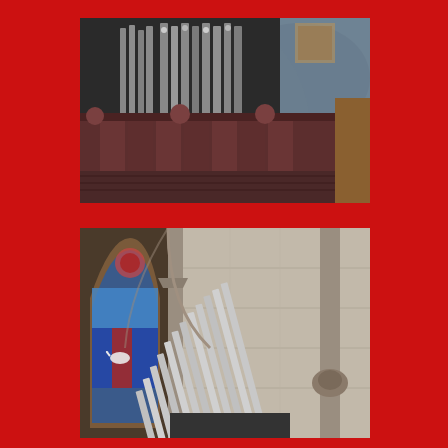[Figure (photo): Close-up photograph of a pipe organ with large metal pipes arranged in rows, dark wooden casework below with decorative finials, and a stone arch with painted decorative elements visible in the background.]
[Figure (photo): Interior of a Gothic-style church showing stone arched columns, stained glass windows on the left with blue and red colors, and a row of tall silver organ pipes arranged diagonally in the foreground, set against a pale stone wall.]